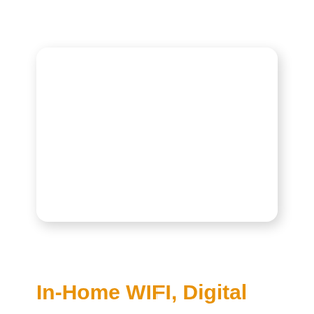[Figure (illustration): A blank white rounded-rectangle card with a subtle drop shadow, shown on a light gray background.]
In-Home WIFI, Digital